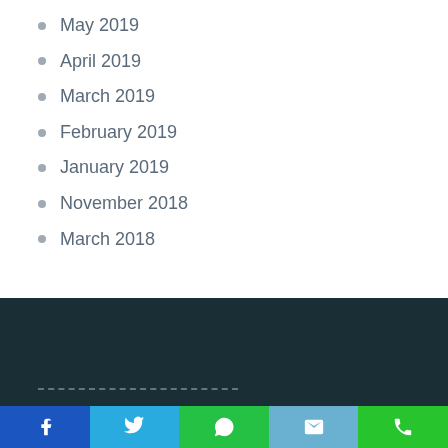May 2019
April 2019
March 2019
February 2019
January 2019
November 2018
March 2018
Social share bar: Facebook, Twitter, WhatsApp, Email, Phone